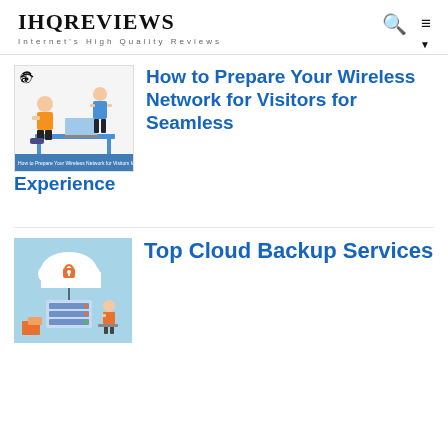IHQREVIEWS — Internet's High Quality Reviews
[Figure (illustration): Thumbnail illustration of two people working at a desk with laptops in an office setting, with small WiFi network imagery]
How to Prepare Your Wireless Network for Visitors for Seamless Experience
[Figure (illustration): Thumbnail illustration of a cloud backup concept: cloud icon with padlock, connected to a server and a person at a desk, on a light blue background]
Top Cloud Backup Services